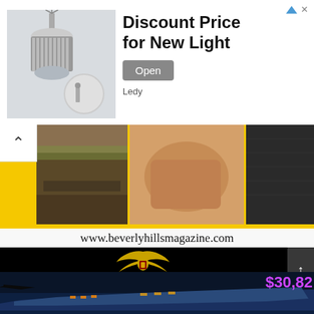[Figure (screenshot): Advertisement banner showing a light fixture product image with headline 'Discount Price for New Light', brand 'Ledy', and an Open button]
Discount Price for New Light
Ledy
[Figure (screenshot): Carousel of photos showing outdoor scene, luxury car interior, and dark fabric, with yellow borders and back navigation button]
[Figure (screenshot): Beverly Hills Magazine website screenshot showing www.beverlyhillsmagazine.com URL bar, Royal Falcon One logo in gold on black background, and a luxury yacht/jet image with price $30,82 in purple text]